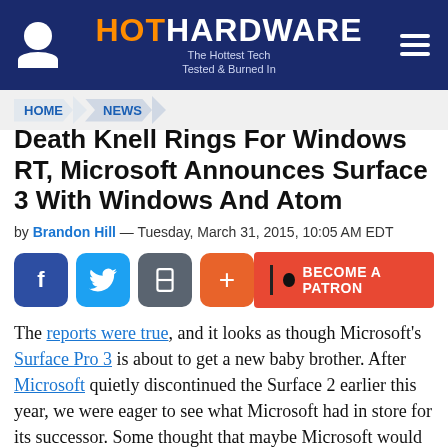[Figure (logo): HotHardware website header with logo, user icon, and hamburger menu on dark navy background]
HOME > NEWS
Death Knell Rings For Windows RT, Microsoft Announces Surface 3 With Windows And Atom
by Brandon Hill — Tuesday, March 31, 2015, 10:05 AM EDT
[Figure (infographic): Social share buttons (Facebook, Twitter, bookmark, plus) and Become a Patron button]
The reports were true, and it looks as though Microsoft's Surface Pro 3 is about to get a new baby brother. After Microsoft quietly discontinued the Surface 2 earlier this year, we were eager to see what Microsoft had in store for its successor. Some thought that maybe Microsoft would just leave the entry-level Windows tablet market to third-party OEMs, but as we are seeing today, that is clearly not